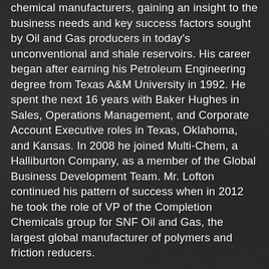chemical manufacturers, gaining an insight to the business needs and key success factors sought by Oil and Gas producers in today's unconventional and shale reservoirs. His career began after earning his Petroleum Engineering degree from Texas A&M University in 1992. He spent the next 16 years with Baker Hughes in Sales, Operations Management, and Corporate Account Executive roles in Texas, Oklahoma, and Kansas. In 2008 he joined Multi-Chem, a Halliburton Company, as a member of the Global Business Development Team. Mr. Lofton continued his pattern of success when in 2012 he took the role of VP of the Completion Chemicals group for SNF Oil and Gas, the largest global manufacturer of polymers and friction reducers.
Additionally, Mr. Lofton has been a strong advocate for community outreach on behalf of the Oil and Gas industry. He is the founder and Chairman of Oilman Helping Hands, a 501(c3) organization, which has raised and donated over $50,000 to local and military charities through his very popular annual event, DFW Oilman's